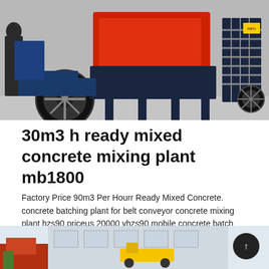[Figure (photo): Photo of a concrete mixing plant / batching machine mounted on a trailer, shown in a factory or outdoor setting. The machine is red and dark blue/grey. A large black tire is visible on the left.]
30m3 h ready mixed concrete mixing plant mb1800
Factory Price 90m3 Per Hourr Ready Mixed Concrete. concrete batching plant for belt conveyor concrete mixing plant hzs90 priceus 20000 yhzs90 mobile concrete batch Factory Price Ready Mix Concrete Batching 35 yhzs35 ready mixed mobile concrete batching plant for sale. compare hls90 concrete batching plant with ce and iso 9001 min jinan shitong
[Figure (photo): Bottom partial photo showing another concrete batching plant or construction equipment scene, with yellow equipment and a building in the background.]